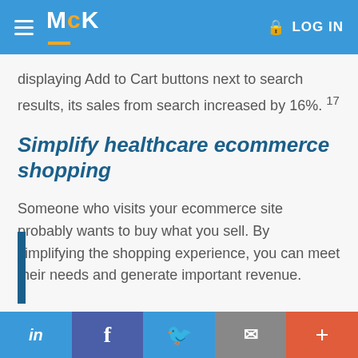MCK  LOG IN
displaying Add to Cart buttons next to search results, its sales from search increased by 16%. 17
Simplify healthcare ecommerce shopping
Someone who visits your ecommerce site probably wants to buy what you sell. By simplifying the shopping experience, you can meet their needs and generate important revenue.
in  f  🐦  ✉  +